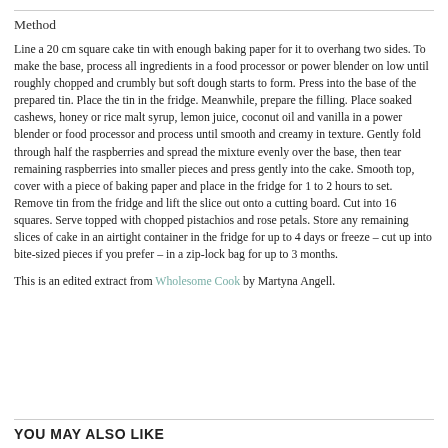Method
Line a 20 cm square cake tin with enough baking paper for it to overhang two sides. To make the base, process all ingredients in a food processor or power blender on low until roughly chopped and crumbly but soft dough starts to form. Press into the base of the prepared tin. Place the tin in the fridge. Meanwhile, prepare the filling. Place soaked cashews, honey or rice malt syrup, lemon juice, coconut oil and vanilla in a power blender or food processor and process until smooth and creamy in texture. Gently fold through half the raspberries and spread the mixture evenly over the base, then tear remaining raspberries into smaller pieces and press gently into the cake. Smooth top, cover with a piece of baking paper and place in the fridge for 1 to 2 hours to set. Remove tin from the fridge and lift the slice out onto a cutting board. Cut into 16 squares. Serve topped with chopped pistachios and rose petals. Store any remaining slices of cake in an airtight container in the fridge for up to 4 days or freeze – cut up into bite-sized pieces if you prefer – in a zip-lock bag for up to 3 months.
This is an edited extract from Wholesome Cook by Martyna Angell.
YOU MAY ALSO LIKE